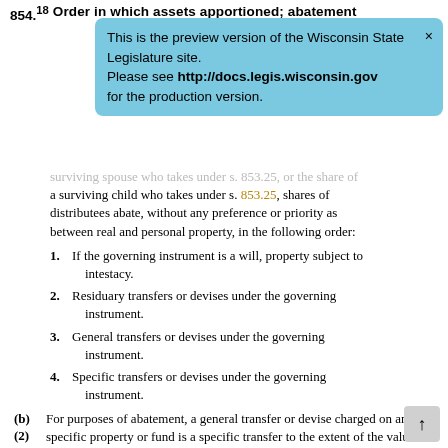854.18  Order in which assets apportioned; abatement
[Figure (infographic): Blue tooltip/notification box reading: 'This is the preview version of the Wisconsin State Legislature site. Please see http://docs.legis.wisconsin.gov for the production version.' with a close X button.]
surviving spouse who takes under s. 853.25, or the share of a surviving child who takes under s. 853.25, shares of distributees abate, without any preference or priority as between real and personal property, in the following order:
1. If the governing instrument is a will, property subject to intestacy.
2. Residuary transfers or devises under the governing instrument.
3. General transfers or devises under the governing instrument.
4. Specific transfers or devises under the governing instrument.
(b) For purposes of abatement, a general transfer or devise charged on any specific property or fund is a specific transfer to the extent of the value of the property on which it is charged, and upon the failure or insufficiency of the property on which it is charged, it is a general transfer to the extent of the failure or insufficiency.
(2)